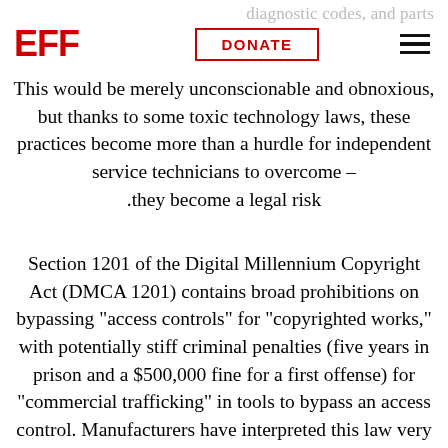diagnostic codes, and parts
[Figure (logo): EFF logo in red bold letters]
This would be merely unconscionable and obnoxious, but thanks to some toxic technology laws, these practices become more than a hurdle for independent service technicians to overcome – they become a legal risk.
Section 1201 of the Digital Millennium Copyright Act (DMCA 1201) contains broad prohibitions on bypassing "access controls" for "copyrighted works," with potentially stiff criminal penalties (five years in prison and a $500,000 fine for a first offense) for "commercial trafficking" in tools to bypass an access control. Manufacturers have interpreted this law very broadly, asserting that the software in their gadgets – cars, medical implants, HVAC systems and thermostats, phones, TVs, etc. –